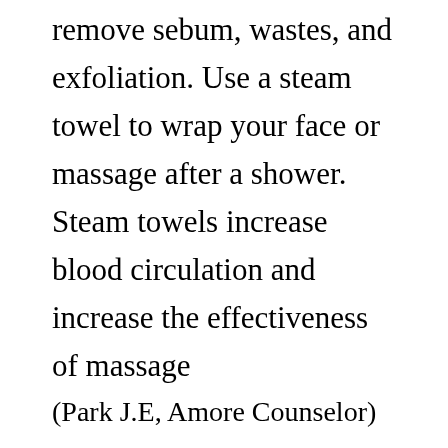remove sebum, wastes, and exfoliation. Use a steam towel to wrap your face or massage after a shower. Steam towels increase blood circulation and increase the effectiveness of massage
(Park J.E, Amore Counselor)
Come visit today to relax the day, and make your life healthier and more enjoyable. Enjoy massages and spas to relieve fatigue and pain. Women only massage is only for women (7am to 5pm). Of course, it will be open to men after 5:00 pm. Come with your friends at Bridal Showers and Birthday Parties, I'm sure it will be a great time. Thank You.
H...